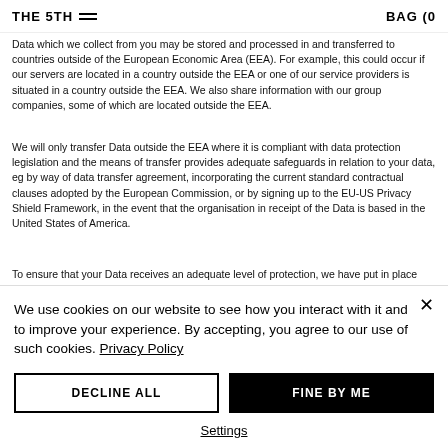THE 5TH | BAG (0)
Data which we collect from you may be stored and processed in and transferred to countries outside of the European Economic Area (EEA). For example, this could occur if our servers are located in a country outside the EEA or one of our service providers is situated in a country outside the EEA. We also share information with our group companies, some of which are located outside the EEA.
We will only transfer Data outside the EEA where it is compliant with data protection legislation and the means of transfer provides adequate safeguards in relation to your data, eg by way of data transfer agreement, incorporating the current standard contractual clauses adopted by the European Commission, or by signing up to the EU-US Privacy Shield Framework, in the event that the organisation in receipt of the Data is based in the United States of America.
To ensure that your Data receives an adequate level of protection, we have put in place appropriate safeguards and procedures with the third parties we share your Data with. This ensures your Data is treated by those third parties
We use cookies on our website to see how you interact with it and to improve your experience. By accepting, you agree to our use of such cookies. Privacy Policy
DECLINE ALL
FINE BY ME
Settings